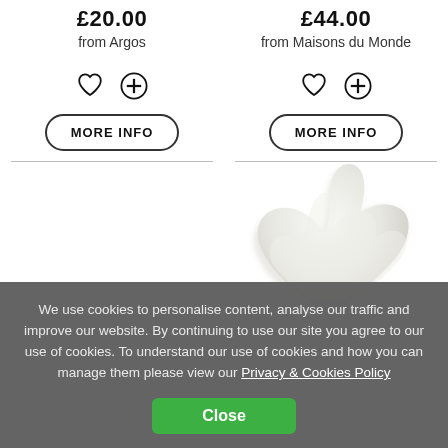£20.00
from Argos
£44.00
from Maisons du Monde
[Figure (illustration): Heart icon and plus icon for left product]
MORE INFO
[Figure (illustration): Heart icon and plus icon for right product]
MORE INFO
[Figure (illustration): White fluffy star-shaped cushion/rug on right side]
We use cookies to personalise content, analyse our traffic and improve our website. By continuing to use our site you agree to our use of cookies. To understand our use of cookies and how you can manage them please view our Privacy & Cookies Policy
Close